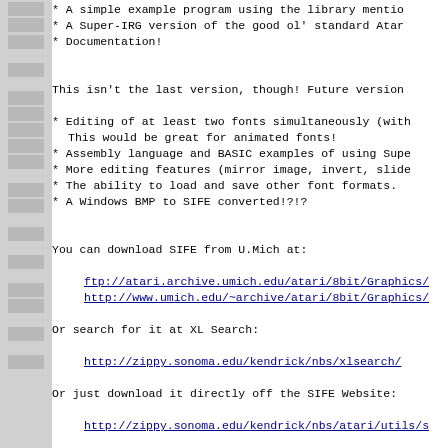* A simple example program using the library mentioned
* A Super-IRG version of the good ol' standard Atari
* Documentation!
This isn't the last version, though!  Future versions:
* Editing of at least two fonts simultaneously (with This would be great for animated fonts!
* Assembly language and BASIC examples of using Supe
* More editing features (mirror image, invert, slide
* The ability to load and save other font formats.
* A Windows BMP to SIFE converted!?!?
You can download SIFE from U.Mich at:
ftp://atari.archive.umich.edu/atari/8bit/Graphics/
http://www.umich.edu/~archive/atari/8bit/Graphics/
Or search for it at XL Search:
http://zippy.sonoma.edu/kendrick/nbs/xlsearch/
Or just download it directly off the SIFE Website:
http://zippy.sonoma.edu/kendrick/nbs/atari/utils/s
Enjoy!  Please send any comments!